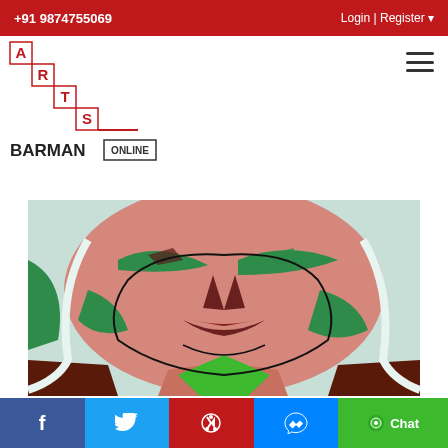+91 9874755069    Login | Register
[Figure (logo): Arts Barman Online logo with staircase letter motif in red and black]
[Figure (illustration): Abstract face painting (Face - I) with geometric shapes in red, green, pink, dark brown and light blue]
FACE - I
₹ 2000 | $ 26
Facebook | Twitter | Pinterest | Messenger | Chat